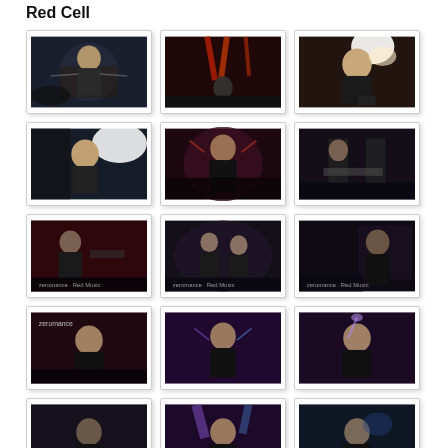Red Cell
[Figure (photo): Concert photo: performer with arms outstretched, dark stage lighting]
[Figure (photo): Concert photo: wide stage shot with red lighting and performers]
[Figure (photo): Concert photo: blonde performer singing under bright spotlight]
[Figure (photo): Concert photo: performer laughing/singing with stage light behind]
[Figure (photo): Concert photo: performer reaching arms up in red light]
[Figure (photo): Concert photo: guitarist on stage, dark setting]
[Figure (photo): Concert photo: band on stage under red light]
[Figure (photo): Concert photo: performers in smoky atmosphere]
[Figure (photo): Concert photo: drummer and stage setup visible]
[Figure (photo): Concert photo: zeromance watermark visible, vocalist with mic]
[Figure (photo): Concert photo: performer under purple/blue stage lighting]
[Figure (photo): Concert photo: vocalist performing under purple light]
[Figure (photo): Concert photo: partial view, dark tones]
[Figure (photo): Concert photo: performer under purple stage light]
[Figure (photo): Concert photo: performer in blue/purple light]